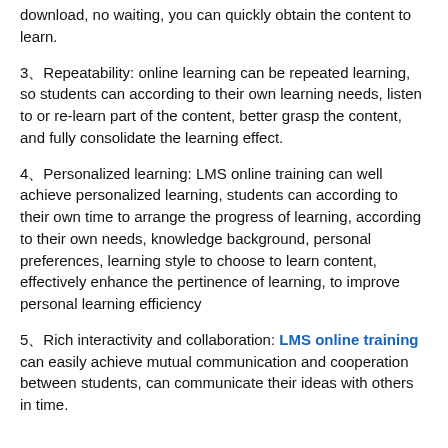download, no waiting, you can quickly obtain the content to learn.
3、Repeatability: online learning can be repeated learning, so students can according to their own learning needs, listen to or re-learn part of the content, better grasp the content, and fully consolidate the learning effect.
4、Personalized learning: LMS online training can well achieve personalized learning, students can according to their own time to arrange the progress of learning, according to their own needs, knowledge background, personal preferences, learning style to choose to learn content, effectively enhance the pertinence of learning, to improve personal learning efficiency
5、Rich interactivity and collaboration: LMS online training can easily achieve mutual communication and cooperation between students, can communicate their ideas with others in time.